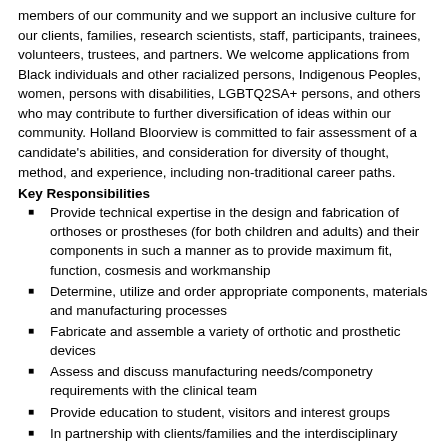members of our community and we support an inclusive culture for our clients, families, research scientists, staff, participants, trainees, volunteers, trustees, and partners. We welcome applications from Black individuals and other racialized persons, Indigenous Peoples, women, persons with disabilities, LGBTQ2SA+ persons, and others who may contribute to further diversification of ideas within our community. Holland Bloorview is committed to fair assessment of a candidate's abilities, and consideration for diversity of thought, method, and experience, including non-traditional career paths.
Key Responsibilities
Provide technical expertise in the design and fabrication of orthoses or prostheses (for both children and adults) and their components in such a manner as to provide maximum fit, function, cosmesis and workmanship
Determine, utilize and order appropriate components, materials and manufacturing processes
Fabricate and assemble a variety of orthotic and prosthetic devices
Assess and discuss manufacturing needs/componetry requirements with the clinical team
Provide education to student, visitors and interest groups
In partnership with clients/families and the interdisciplinary team, provides client and Family-Centred Care which is goal directed, evidence based and outcome oriented
Supports and respects the client/family's rights to make decisions based on their own values, beliefs and experiences
Bases practice on established policies, procedures and fabrication standards
Interacts with members of the interdisciplinary team and community providers to ensure an integrated service approach
Communicates in a timely and effective manner
Participates in quality improvement activities and supports the maintenance of a safe and healthy work environment for effective client care